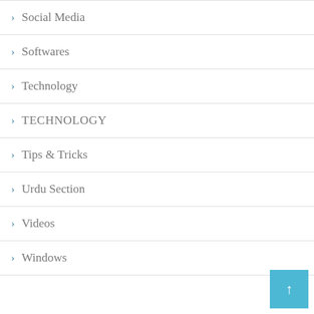Social Media
Softwares
Technology
TECHNOLOGY
Tips & Tricks
Urdu Section
Videos
Windows